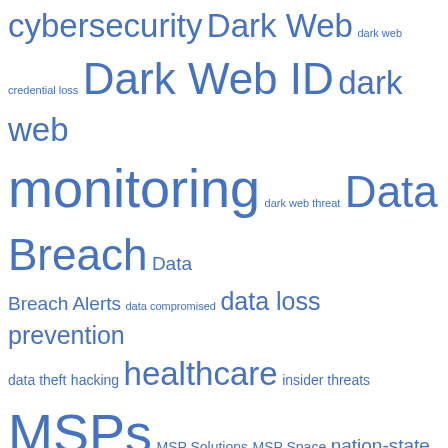[Figure (other): A tag cloud of cybersecurity-related terms in various sizes and shades of blue, including: cybersecurity, Dark Web, dark web, credential loss, Dark Web ID, dark web monitoring, dark web threat, Data Breach, Data Breach Alerts, data compromised, data loss prevention, data theft, hacking, healthcare, insider threats, MSPs, MSP Solutions, MSP Space, nation-state hackers, Passly, passwords, phishing, phishing resistance, ransomware, remote working, retail, security, security awareness training, SMB cybersecurity, stolen credentials, supply chain]